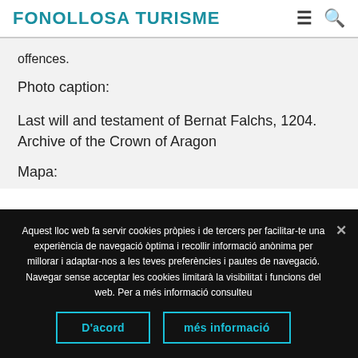FONOLLOSA TURISME
offences.
Photo caption:
Last will and testament of Bernat Falchs, 1204. Archive of the Crown of Aragon
Mapa:
Aquest lloc web fa servir cookies pròpies i de tercers per facilitar-te una experiència de navegació òptima i recollir informació anònima per millorar i adaptar-nos a les teves preferències i pautes de navegació. Navegar sense acceptar les cookies limitarà la visibilitat i funcions del web. Per a més informació consulteu
D'acord
més informació